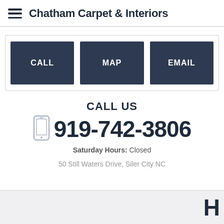Chatham Carpet & Interiors
CALL  MAP  EMAIL
CALL US
919-742-3806
Saturday Hours: Closed
50 Still Waters Drive, Siler City NC